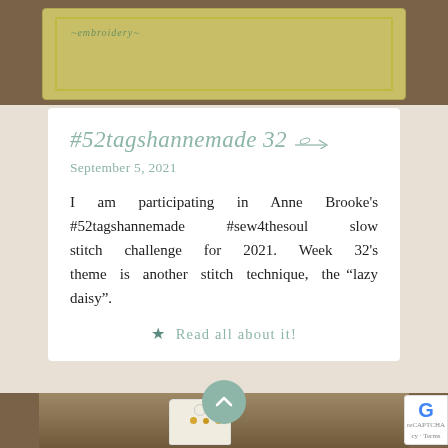[Figure (photo): Top partial photo showing a small embroidered fabric tag on a wooden surface]
#52tagshannemade 32
September 5, 2021
I am participating in Anne Brooke's #52tagshannemade #sew4thesoul slow stitch challenge for 2021. Week 32's theme is another stitch technique, the “lazy daisy”.
★ Read all about it!
[Figure (photo): Bottom partial photo showing a decorative embroidered tag with gold beads and flowers on a wooden surface]